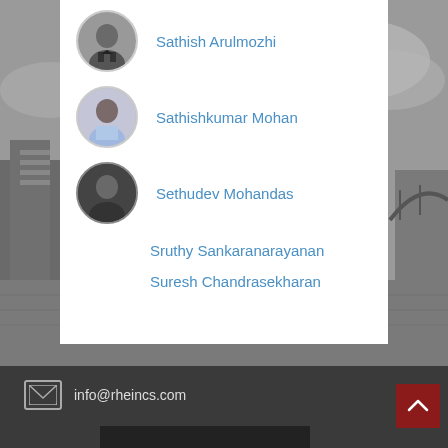[Figure (photo): Grayscale background photo showing a barge/boat on a river with city buildings and a bridge visible]
Sathish Arulmozhi
Sathishkumar Mohan
Sethudev Mohandas
Sruthy Sankaranarayanan
Suresh Chandrasekharan
info@rheincs.com